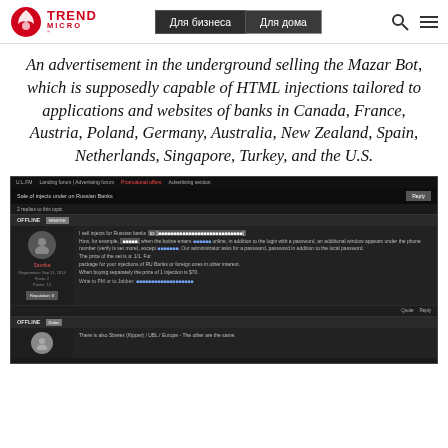Trend Micro — Для бизнеса | Для дома
An advertisement in the underground selling the Mazar Bot, which is supposedly capable of HTML injections tailored to applications and websites of banks in Canada, France, Austria, Poland, Germany, Australia, New Zealand, Spain, Netherlands, Singapore, Turkey, and the U.S.
[Figure (screenshot): A screenshot of an underground forum advertising the Mazar Bot malware, showing a dark-themed forum post with user avatar, post content about selling injects for Russian banks, and a reply section below.]